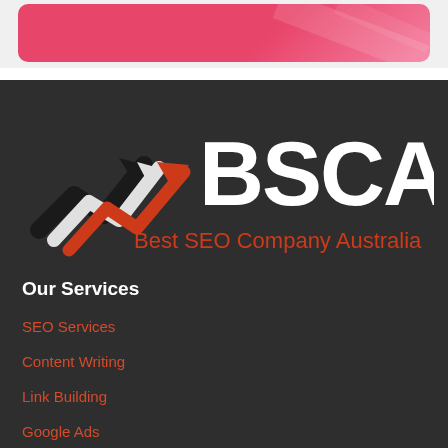[Figure (logo): BSCA Best SEO Company Australia logo on dark background with trending arrow icon]
Our Services
SEO Services
Content Writing
Link Building
Google Ads